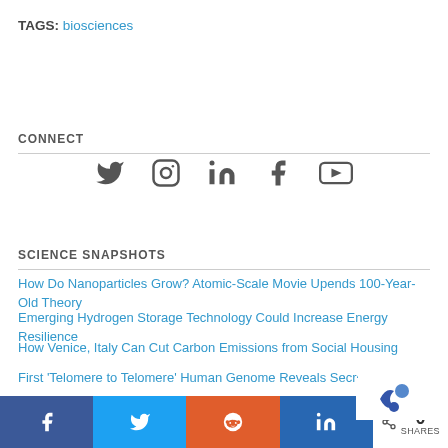TAGS: biosciences
CONNECT
[Figure (infographic): Social media icons: Twitter, Instagram, LinkedIn, Facebook, YouTube]
SCIENCE SNAPSHOTS
How Do Nanoparticles Grow? Atomic-Scale Movie Upends 100-Year-Old Theory
Emerging Hydrogen Storage Technology Could Increase Energy Resilience
How Venice, Italy Can Cut Carbon Emissions from Social Housing
First 'Telomere to Telomere' Human Genome Reveals Secrets of the Cent
0 SHARES